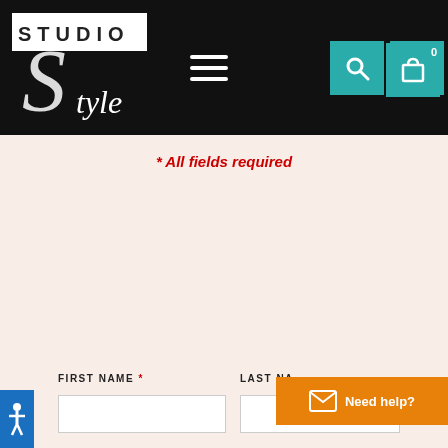[Figure (logo): Studio Style logo with stylized S and cursive 'tyle' text on black header background]
* All fields required
FIRST NAME *
LAST NA...
[Figure (other): Need help? button with envelope icon in orange, and accessibility icon in blue]